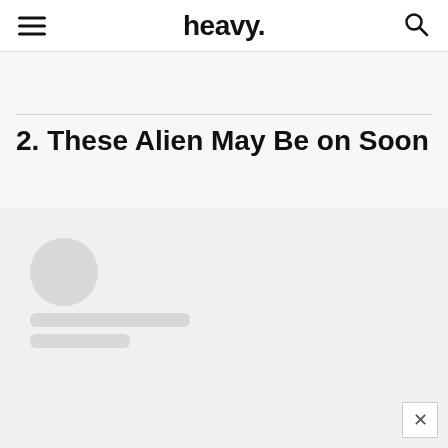heavy.
2. These Alien May Be on Soon
[Figure (illustration): Loading placeholder card with circular avatar and two grey placeholder lines, representing a loading state for a social media or author card.]